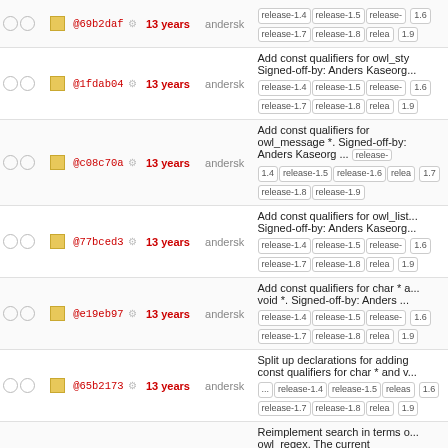|  |  |  | hash | age | author | message/tags |
| --- | --- | --- | --- | --- | --- | --- |
| ○○ | ■ |  | @69b2daf | 13 years | andersk | release-1.4 release-1.5 release-1.6 release-1.7 release-1.8 release-1.9 |
| ○○ | ■ |  | @1fdab04 | 13 years | andersk | Add const qualifiers for owl_sty... Signed-off-by: Anders Kaseorg... release-1.4 release-1.5 release-1.6 release-1.7 release-1.8 release-1.9 |
| ○○ | ■ |  | @c08c70a | 13 years | andersk | Add const qualifiers for owl_message *. Signed-off-by: Anders Kaseorg ... release-1.4 release-1.5 release-1.6 release-1.7 release-1.8 release-1.9 |
| ○○ | ■ |  | @77bced3 | 13 years | andersk | Add const qualifiers for owl_list... Signed-off-by: Anders Kaseorg... release-1.4 release-1.5 release-1.6 release-1.7 release-1.8 release-1.9 |
| ○○ | ■ |  | @e19eb97 | 13 years | andersk | Add const qualifiers for char * and void *. Signed-off-by: Anders ... release-1.4 release-1.5 release-1.6 release-1.7 release-1.8 release-1.9 |
| ○○ | ■ |  | @65b2173 | 13 years | andersk | Split up declarations for adding const qualifiers for char * and v... ... release-1.4 release-1.5 release-1.6 release-1.7 release-1.8 release-1.9 |
| ○○ | ■ |  | @41c9a96 | 13 years | andersk | Reimplement search in terms of owl_regex. The current implementation ... release-1.4 release-1.5 release-1.6 release-1.7 release-1.8 release-1.9 |